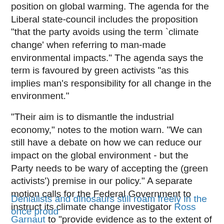position on global warming. The agenda for the Liberal state-council includes the proposition "that the party avoids using the term `climate change' when referring to man-made environmental impacts." The agenda says the term is favoured by green activists "as this implies man's responsibility for all change in the environment."
"Their aim is to dismantle the industrial economy," notes to the motion warn. "We can still have a debate on how we can reduce our impact on the global environment - but the Party needs to be wary of accepting the (green activists') premise in our policy." A separate motion calls for the Federal Government to instruct its climate change investigator Ross Garnaut to "provide evidence as to the extent of the contribution of human activity to global warming." State policy debates will include a motion for "land-based treatment and disposal" of toxic silt dredged from the Yarra river as part of the channel deepening project, and a motion to abolish stamp duty.
Denialists and dinosaurs still roam freely in the once proud